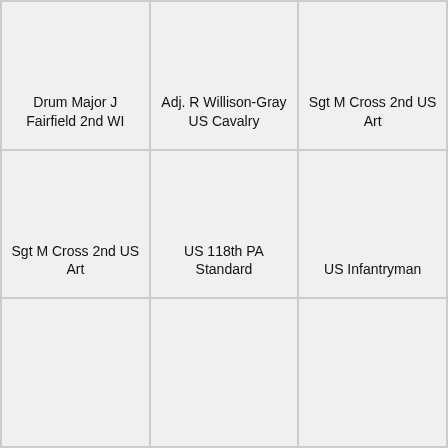Drum Major J Fairfield 2nd WI
Adj. R Willison-Gray US Cavalry
Sgt M Cross 2nd US Art
Sgt M Cross 2nd US Art
US 118th PA Standard
US Infantryman
[Figure (photo): Empty cell - photo placeholder]
[Figure (photo): Empty cell - photo placeholder]
[Figure (photo): Empty cell - photo placeholder]